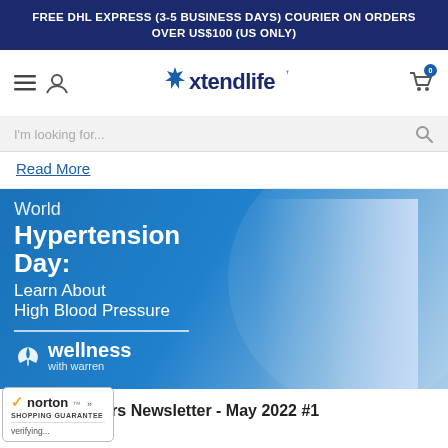FREE DHL EXPRESS (3-5 BUSINESS DAYS) COURIER ON ORDERS OVER US$100 (US ONLY)
[Figure (screenshot): Xtendlife website navigation bar with hamburger menu, user icon, Xtendlife logo, and shopping cart with badge showing 0]
[Figure (screenshot): Search bar with placeholder text 'I'm looking for...' and search icon]
Read More
[Figure (illustration): World Hypertension Day: Learn About High Blood Pressure - Wellness with Warren banner image featuring an older man with grey hair and beard on a blue background]
Health Matters Newsletter - May 2022 #1
[Figure (logo): Norton Shopping Guarantee badge with orange checkmark, verifying... text]